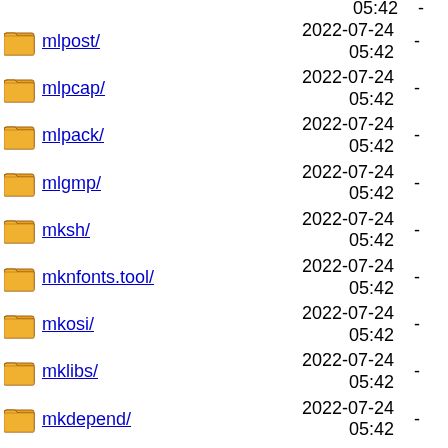mlpost/ 2022-07-24 05:42 -
mlpcap/ 2022-07-24 05:42 -
mlpack/ 2022-07-24 05:42 -
mlgmp/ 2022-07-24 05:42 -
mksh/ 2022-07-24 05:42 -
mknfonts.tool/ 2022-07-24 05:42 -
mkosi/ 2022-07-24 05:42 -
mklibs/ 2022-07-24 05:42 -
mkdepend/ 2022-07-24 05:42 -
mkgmap-splitter/ 2022-07-24 05:42 -
mistune/ 2022-07-24 05:42 -